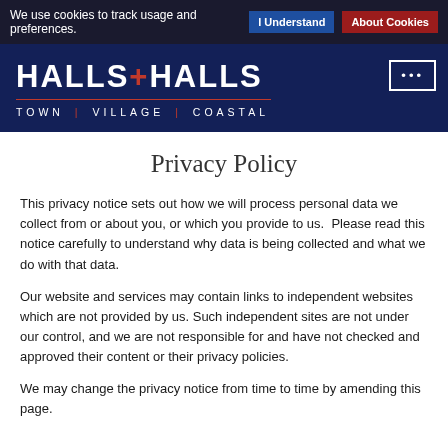We use cookies to track usage and preferences. | I Understand | About Cookies
[Figure (logo): Halls + Halls logo with tagline TOWN | VILLAGE | COASTAL on dark navy background]
Privacy Policy
This privacy notice sets out how we will process personal data we collect from or about you, or which you provide to us. Please read this notice carefully to understand why data is being collected and what we do with that data.
Our website and services may contain links to independent websites which are not provided by us. Such independent sites are not under our control, and we are not responsible for and have not checked and approved their content or their privacy policies.
We may change the privacy notice from time to time by amending this page.